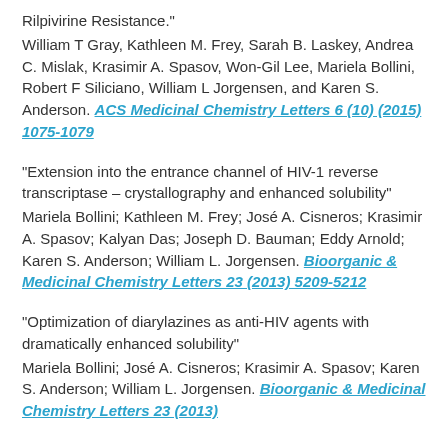Rilpivirine Resistance."
William T Gray, Kathleen M. Frey, Sarah B. Laskey, Andrea C. Mislak, Krasimir A. Spasov, Won-Gil Lee, Mariela Bollini, Robert F Siliciano, William L Jorgensen, and Karen S. Anderson. ACS Medicinal Chemistry Letters 6 (10) (2015) 1075-1079
"Extension into the entrance channel of HIV-1 reverse transcriptase – crystallography and enhanced solubility"
Mariela Bollini; Kathleen M. Frey; José A. Cisneros; Krasimir A. Spasov; Kalyan Das; Joseph D. Bauman; Eddy Arnold; Karen S. Anderson; William L. Jorgensen. Bioorganic & Medicinal Chemistry Letters 23 (2013) 5209-5212
"Optimization of diarylazines as anti-HIV agents with dramatically enhanced solubility"
Mariela Bollini; José A. Cisneros; Krasimir A. Spasov; Karen S. Anderson; William L. Jorgensen. Bioorganic & Medicinal Chemistry Letters 23 (2013)